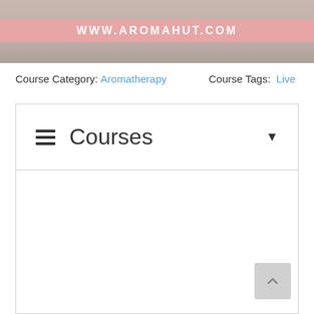[Figure (photo): Banner image of aromatherapy products with a pink overlay bar reading WWW.AROMAHUT.COM]
Course Category: Aromatherapy     Course Tags: Live
≡ Courses